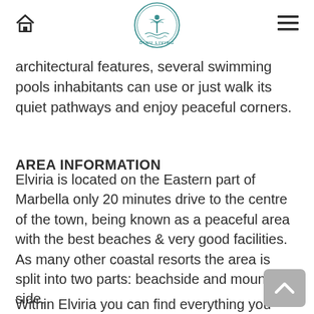Dinu Living [logo] [home icon] [menu icon]
architectural features, several swimming pools inhabitants can use or just walk its quiet pathways and enjoy peaceful corners.
AREA INFORMATION
Elviria is located on the Eastern part of Marbella only 20 minutes drive to the centre of the town, being known as a peaceful area with the best beaches & very good facilities. As many other coastal resorts the area is split into two parts: beachside and mountain side.
Within Elviria you can find everything you need